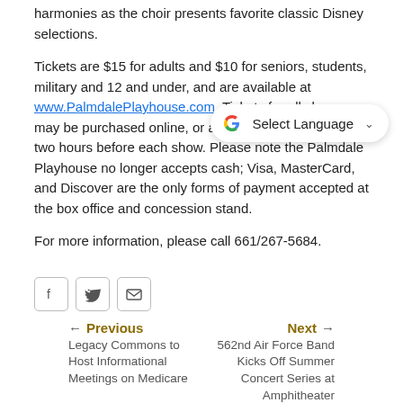harmonies as the choir presents favorite classic Disney selections.
Tickets are $15 for adults and $10 for seniors, students, military and 12 and under, and are available at www.PalmdalePlayhouse.com. Tickets for all shows may be purchased online, or at the Box Office opening two hours before each show. Please note the Palmdale Playhouse no longer accepts cash; Visa, MasterCard, and Discover are the only forms of payment accepted at the box office and concession stand.
For more information, please call 661/267-5684.
[Figure (other): Social sharing buttons: Facebook, Twitter, Email]
Previous: Legacy Commons to Host Informational Meetings on Medicare | Next: 562nd Air Force Band Kicks Off Summer Concert Series at Amphitheater
Other News in Press Releases